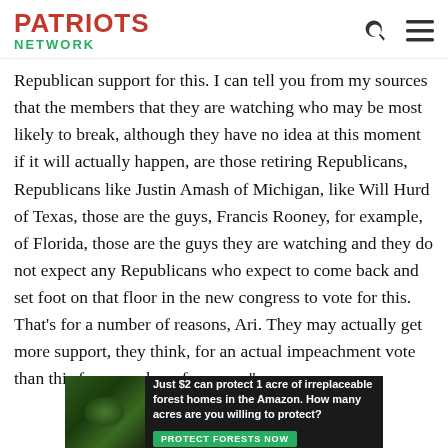PATRIOTS NETWORK
Republican support for this. I can tell you from my sources that the members that they are watching who may be most likely to break, although they have no idea at this moment if it will actually happen, are those retiring Republicans, Republicans like Justin Amash of Michigan, like Will Hurd of Texas, those are the guys, Francis Rooney, for example, of Florida, those are the guys they are watching and they do not expect any Republicans who expect to come back and set foot on that floor in the new congress to vote for this. That’s for a number of reasons, Ari. They may actually get more support, they think, for an actual impeachment vote than this for a number of reasons.”
[Figure (infographic): Advertisement banner: Just $2 can protect 1 acre of irreplaceable forest homes in the Amazon. How many acres are you willing to protect? PROTECT FORESTS NOW]